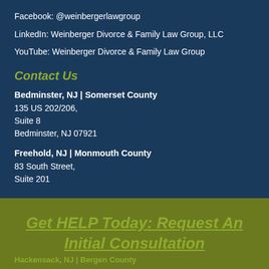Facebook: @weinbergerlawgroup
LinkedIn: Weinberger Divorce & Family Law Group, LLC
YouTube: Weinberger Divorce & Family Law Group
Contact Us
Bedminster, NJ | Somerset County
135 US 202/206,
Suite 8
Bedminster, NJ 07921
Freehold, NJ | Monmouth County
83 South Street,
Suite 201
Get HELP Today: Request An Initial Consultation
Hackensack, NJ | Bergen County